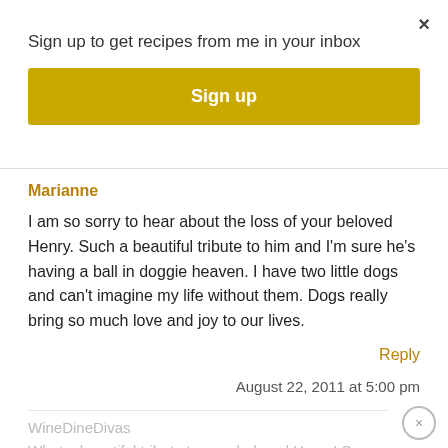×
Sign up to get recipes from me in your inbox
Sign up
Marianne
I am so sorry to hear about the loss of your beloved Henry. Such a beautiful tribute to him and I'm sure he's having a ball in doggie heaven. I have two little dogs and can't imagine my life without them. Dogs really bring so much love and joy to our lives.
Reply
August 22, 2011 at 5:00 pm
WineDineDivas
What a beautiful tribute to your beloved Henry! So sorry